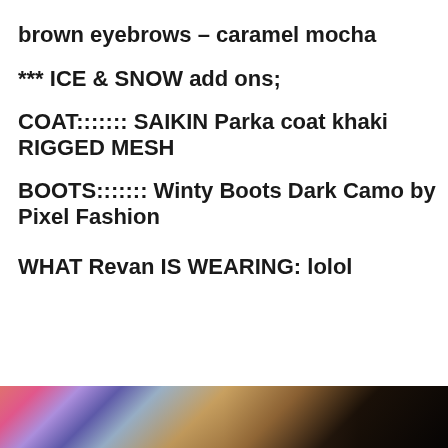brown eyebrows – caramel mocha
*** ICE & SNOW add ons;
COAT::::::: SAIKIN Parka coat khaki RIGGED MESH
BOOTS::::::: Winty Boots Dark Camo by Pixel Fashion
WHAT Revan IS WEARING: lolol
[Figure (photo): Partial bottom strip of a dark indoor photo showing colorful objects on a surface]